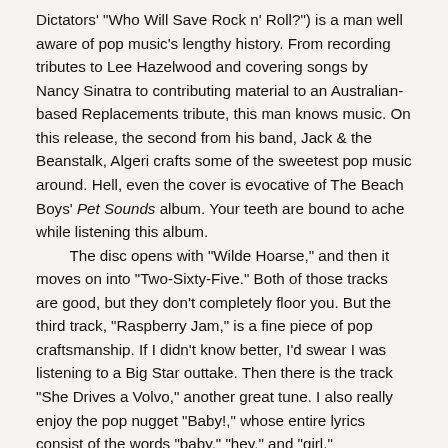Dictators' "Who Will Save Rock n' Roll?") is a man well aware of pop music's lengthy history. From recording tributes to Lee Hazelwood and covering songs by Nancy Sinatra to contributing material to an Australian-based Replacements tribute, this man knows music. On this release, the second from his band, Jack & the Beanstalk, Algeri crafts some of the sweetest pop music around. Hell, even the cover is evocative of The Beach Boys' Pet Sounds album. Your teeth are bound to ache while listening this album.
	The disc opens with "Wilde Hoarse," and then it moves on into "Two-Sixty-Five." Both of those tracks are good, but they don't completely floor you. But the third track, "Raspberry Jam," is a fine piece of pop craftsmanship. If I didn't know better, I'd swear I was listening to a Big Star outtake. Then there is the track "She Drives a Volvo," another great tune. I also really enjoy the pop nugget "Baby!," whose entire lyrics consist of the words "baby," "hey," and "girl."
	If you are a fan of great pop music, you will definitely not be disappointed with Jack & the Beanstalk. Just remember, this is pop music. If you want to hear something a little more